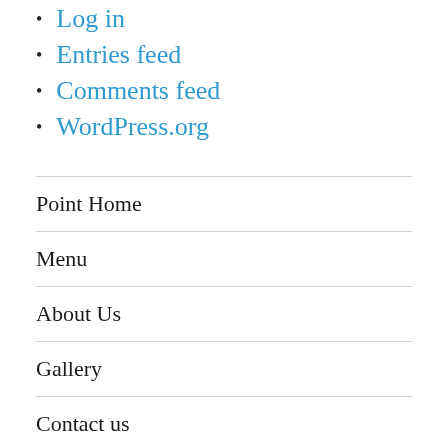Log in
Entries feed
Comments feed
WordPress.org
Point Home
Menu
About Us
Gallery
Contact us
[Figure (other): Row of five circular social media or sharing icon buttons with WiFi/share symbols]